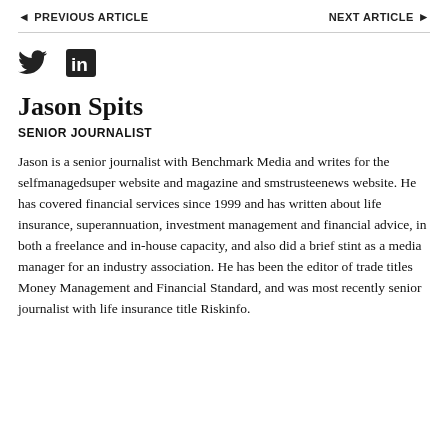◄ PREVIOUS ARTICLE   NEXT ARTICLE ►
[Figure (logo): Twitter bird icon and LinkedIn 'in' icon side by side]
Jason Spits
SENIOR JOURNALIST
Jason is a senior journalist with Benchmark Media and writes for the selfmanagedsuper website and magazine and smstrusteenews website. He has covered financial services since 1999 and has written about life insurance, superannuation, investment management and financial advice, in both a freelance and in-house capacity, and also did a brief stint as a media manager for an industry association. He has been the editor of trade titles Money Management and Financial Standard, and was most recently senior journalist with life insurance title Riskinfo.